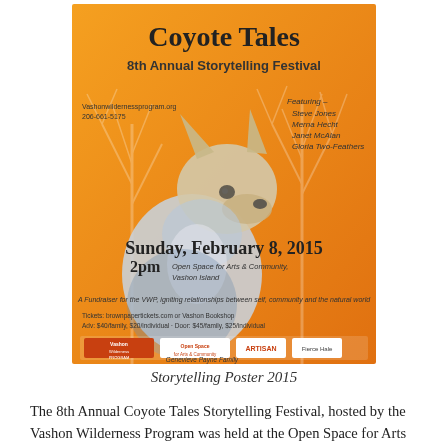[Figure (illustration): Storytelling festival poster for 'Coyote Tales – 8th Annual Storytelling Festival', featuring an illustration of a coyote against an orange background with white tree silhouettes. Text includes date Sunday, February 8, 2015, 2pm, Open Space for Arts & Community, Vashon Island. Features Steve Jones, Merna Hecht, Janet McAlan, Gloria Two-Feathers. Vashon Wilderness Program fundraiser. Logos at bottom.]
Storytelling Poster 2015
The 8th Annual Coyote Tales Storytelling Festival, hosted by the Vashon Wilderness Program was held at the Open Space for Arts & Community Theater on Vashon Island. Vashon has a large community of family and friends that